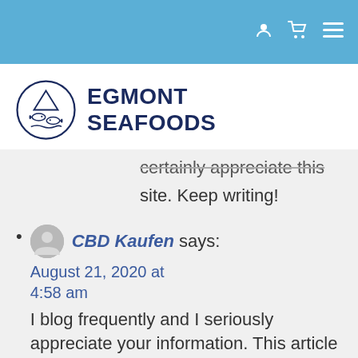[Navigation bar with user, cart, and menu icons]
[Figure (logo): Egmont Seafoods logo: circular emblem with fish and waves, next to bold text EGMONT SEAFOODS]
...certainly appreciate this site. Keep writing!
CBD Kaufen says: August 21, 2020 at 4:58 am — I blog frequently and I seriously appreciate your information. This article has truly peaked my interest. I am going to bookmark your site and keep checking for new information about